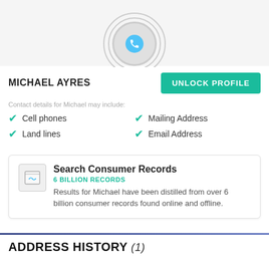[Figure (illustration): Circular avatar with phone icon and signal rings on grey background]
MICHAEL AYRES
UNLOCK PROFILE
Contact details for Michael may include:
Cell phones
Mailing Address
Land lines
Email Address
Search Consumer Records
6 BILLION RECORDS
Results for Michael have been distilled from over 6 billion consumer records found online and offline.
ADDRESS HISTORY (1)